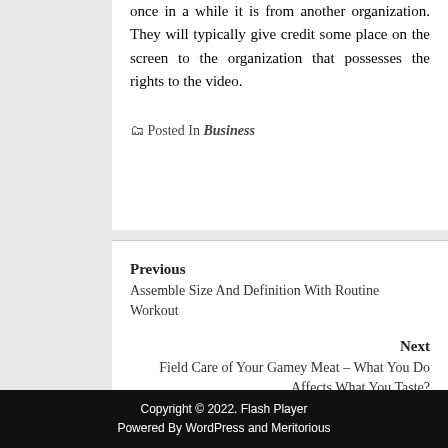once in a while it is from another organization. They will typically give credit some place on the screen to the organization that possesses the rights to the video.
Posted In Business
Previous
Assemble Size And Definition With Routine Workout
Next
Field Care of Your Gamey Meat – What You Do Affects What You Taste?
Copyright © 2022. Flash Player
Powered By WordPress and Meritorious